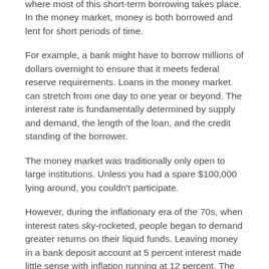where most of this short-term borrowing takes place. In the money market, money is both borrowed and lent for short periods of time.
For example, a bank might have to borrow millions of dollars overnight to ensure that it meets federal reserve requirements. Loans in the money market can stretch from one day to one year or beyond. The interest rate is fundamentally determined by supply and demand, the length of the loan, and the credit standing of the borrower.
The money market was traditionally only open to large institutions. Unless you had a spare $100,000 lying around, you couldn't participate.
However, during the inflationary era of the 70s, when interest rates sky-rocketed, people began to demand greater returns on their liquid funds. Leaving money in a bank deposit account at 5 percent interest made little sense with inflation running at 12 percent. The money market was